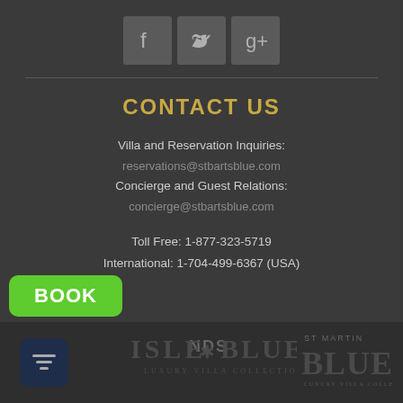[Figure (other): Social media icons for Facebook, Twitter, and Google+]
CONTACT US
Villa and Reservation Inquiries:
reservations@stbartsblue.com
Concierge and Guest Relations:
concierge@stbartsblue.com
Toll Free: 1-877-323-5719
International: 1-704-499-6367 (USA)
[Figure (logo): BOOK button (green), filter button (dark blue), NDS text, Isle Blue Luxury Villa Collection logo, St Martin Blue logo]